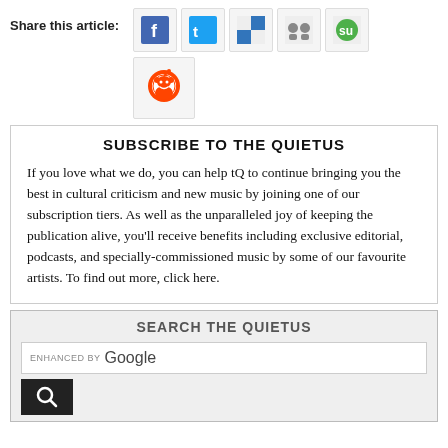Share this article:
[Figure (infographic): Row of social sharing icons: Facebook, Twitter, Delicious, and two others; below that a Reddit icon]
SUBSCRIBE TO THE QUIETUS
If you love what we do, you can help tQ to continue bringing you the best in cultural criticism and new music by joining one of our subscription tiers. As well as the unparalleled joy of keeping the publication alive, you'll receive benefits including exclusive editorial, podcasts, and specially-commissioned music by some of our favourite artists. To find out more, click here.
SEARCH THE QUIETUS
ENHANCED BY Google